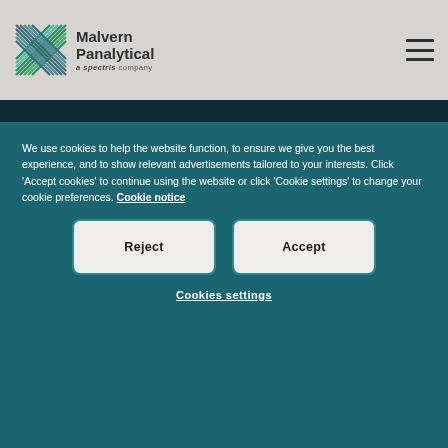[Figure (logo): Malvern Panalytical logo with X mark graphic and 'a spectris company' tagline, plus hamburger menu icon]
We use cookies to help the website function, to ensure we give you the best experience, and to show relevant advertisements tailored to your interests. Click 'Accept cookies' to continue using the website or click 'Cookie settings' to change your cookie preferences. Cookie notice
Reject
Accept
Cookies settings